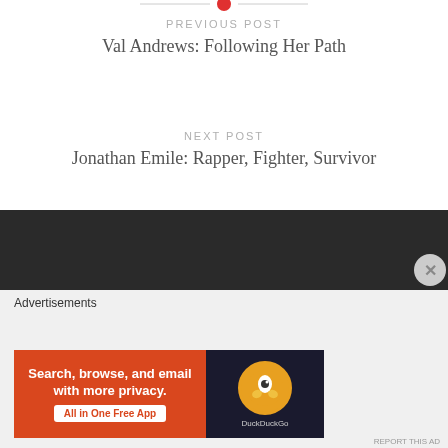[Figure (other): Red circle divider element at top of page]
PREVIOUS POST
Val Andrews: Following Her Path
NEXT POST
Jonathan Emile: Rapper, Fighter, Survivor
[Figure (other): Dark footer bar]
Advertisements
[Figure (other): DuckDuckGo advertisement banner: Search, browse, and email with more privacy. All in One Free App]
REPORT THIS AD